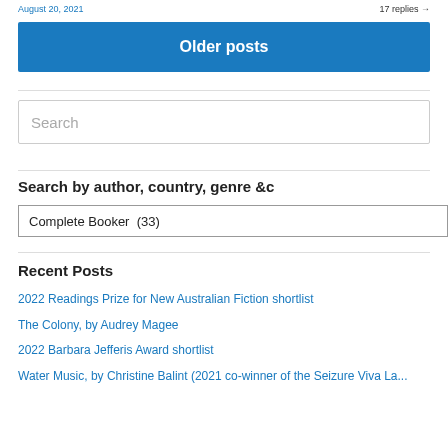August 20, 2021 | 17 replies
Older posts
Search
Search by author, country, genre &c
Complete Booker  (33)
Recent Posts
2022 Readings Prize for New Australian Fiction shortlist
The Colony, by Audrey Magee
2022 Barbara Jefferis Award shortlist
Water Music, by Christine Balint (2021 co-winner of the Seizure Viva La...